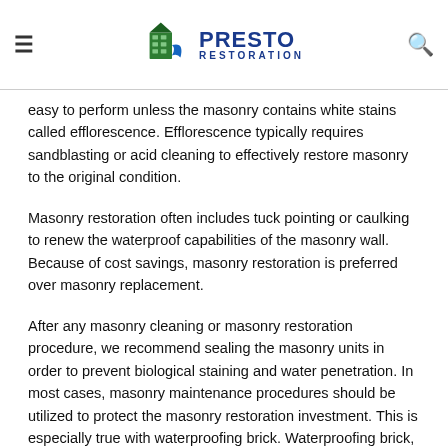Presto Restoration
easy to perform unless the masonry contains white stains called efflorescence. Efflorescence typically requires sandblasting or acid cleaning to effectively restore masonry to the original condition.
Masonry restoration often includes tuck pointing or caulking to renew the waterproof capabilities of the masonry wall. Because of cost savings, masonry restoration is preferred over masonry replacement.
After any masonry cleaning or masonry restoration procedure, we recommend sealing the masonry units in order to prevent biological staining and water penetration. In most cases, masonry maintenance procedures should be utilized to protect the masonry restoration investment. This is especially true with waterproofing brick. Waterproofing brick, especially the mortar, reduces the likelihood of stains developing in the future.